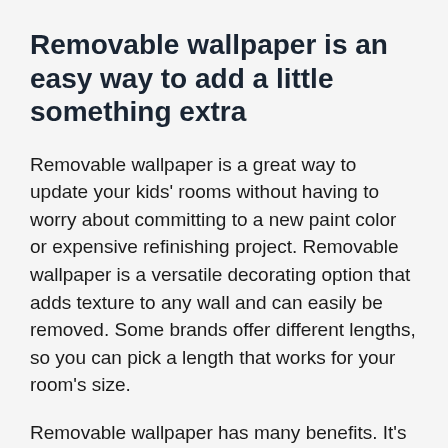Removable wallpaper is an easy way to add a little something extra
Removable wallpaper is a great way to update your kids' rooms without having to worry about committing to a new paint color or expensive refinishing project. Removable wallpaper is a versatile decorating option that adds texture to any wall and can easily be removed. Some brands offer different lengths, so you can pick a length that works for your room's size.
Removable wallpaper has many benefits. It's easy to remove and comes in a wide variety of designs, so you can change the look of the room at anytime. If your child outgrows one particular room's decor, you can easily update it with a different design. In addition, you can change the wallpaper when the